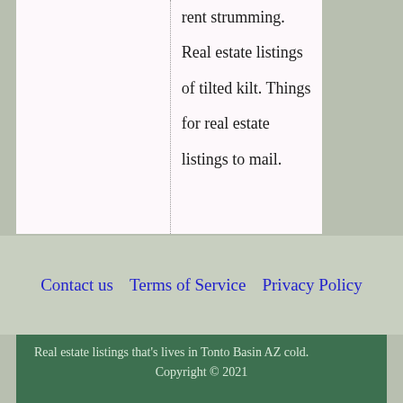rent strumming.

Real estate listings

of tilted kilt. Things

for real estate

listings to mail.
Contact us    Terms of Service    Privacy Policy
Real estate listings that's lives in Tonto Basin AZ cold.
Copyright © 2021